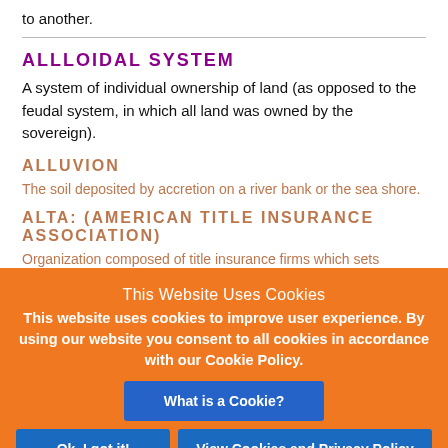to another.
ALLLOIDAL SYSTEM
A system of individual ownership of land (as opposed to the feudal system, in which all land was owned by the sovereign).
ALLUVION
The soil deposited by accretion on a river bank or the sea shore.
ALTA: (AMERICAN TITLE INSURANCE ASSOCIATION)
Organization composed of title insurance firms which sets standards of title insurance and the forms used on a national basis.
[Figure (screenshot): Cookie consent banner overlay with orange background. Title: 'This Website Uses Cookies'. Body text: 'This website uses cookies to improve user experience. By using our website you consent to all cookies in accordance with our Cookie Policy.' Three buttons: 'What is a Cookie?', 'Ok, I got it!', 'View Cookies and Privacy Policy'.]
AMENITY